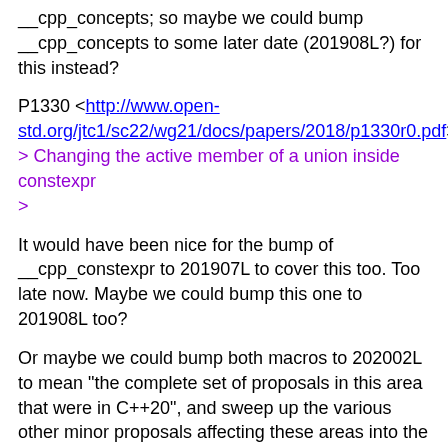__cpp_concepts; so maybe we could bump __cpp_concepts to some later date (201908L?) for this instead?
P1330 <http://www.open-std.org/jtc1/sc22/wg21/docs/papers/2018/p1330r0.pdf>
> Changing the active member of a union inside constexpr
>
It would have been nice for the bump of __cpp_constexpr to 201907L to cover this too. Too late now. Maybe we could bump this one to 201908L too?
Or maybe we could bump both macros to 202002L to mean "the complete set of proposals in this area that were in C++20", and sweep up the various other minor proposals affecting these areas into the new value? (Eg. constexpr